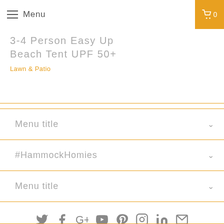Menu
3-4 Person Easy Up Beach Tent UPF 50+
Lawn & Patio
Menu title
#HammockHomies
Menu title
[Figure (infographic): Social media icons row: Twitter, Facebook, Google+, YouTube, Pinterest, Instagram, LinkedIn, Email]